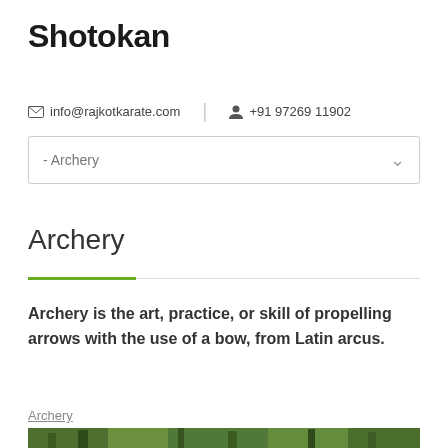Shotokan
✉ info@rajkotkarate.com  |  👤 +91 97269 11902
- Archery
Archery
Archery is the art, practice, or skill of propelling arrows with the use of a bow, from Latin arcus.
Archery
[Figure (photo): Photograph of trees and green vegetation, appears to be a park or natural outdoor area.]